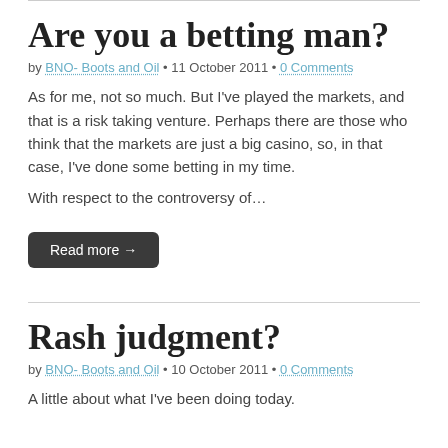Are you a betting man?
by BNO- Boots and Oil • 11 October 2011 • 0 Comments
As for me, not so much. But I've played the markets, and that is a risk taking venture. Perhaps there are those who think that the markets are just a big casino, so, in that case, I've done some betting in my time.
With respect to the controversy of…
Read more →
Rash judgment?
by BNO- Boots and Oil • 10 October 2011 • 0 Comments
A little about what I've been doing today.